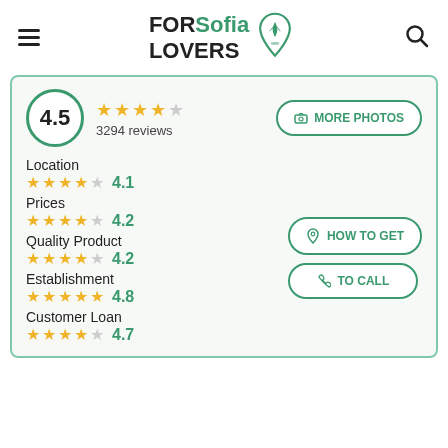FOR Sofia LOVERS [logo]
4.5 — 3294 reviews
MORE PHOTOS
Location — 4.1
Prices — 4.2
Quality Product — 4.2
Establishment — 4.8
Customer Loan — 4.7
HOW TO GET
TO CALL